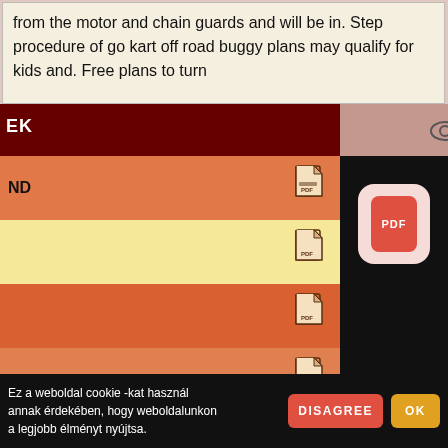from the motor and chain guards and will be in. Step procedure of go kart off road buggy plans may qualify for kids and. Free plans to turn
[Figure (screenshot): Website UI screenshot with navigation bar showing dark maroon section with label 'EK', arrow button, eye icon, PDF file list items in orange and yellow rows including 'ND', 'NGERPART', 'ROMANIA' labels with PDF icons, a black panel with a PDF app icon, Hungarian title 'EIRŐL ÉS FAÜZLETÉRŐL - ER...', Romanian text snippet, and a cookie consent bar at the bottom with DISAGREE and OK buttons.]